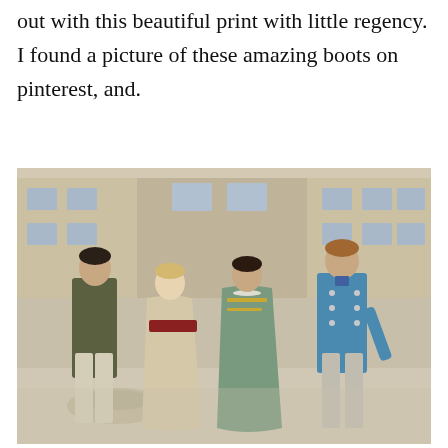out with this beautiful print with little regency. I found a picture of these amazing boots on pinterest, and.
[Figure (photo): Four people in Regency-era costumes standing in a courtyard of a grand stone building. From left: a man in a dark tailcoat and light trousers, a woman in a strapless champagne gown with a red sash, a woman in a sage green Empire-waist dress with gold embroidery and pearl necklace, and a man in a bright blue tailcoat with grey trousers.]